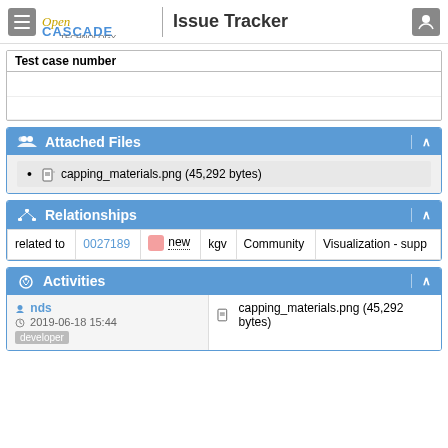Open CASCADE TECHNOLOGY | Issue Tracker
| Test case number |
| --- |
|  |
|  |
Attached Files
capping_materials.png (45,292 bytes)
Relationships
| related to | 0027189 | new | kgv | Community | Visualization - supp |
Activities
nds
2019-06-18 15:44
developer
capping_materials.png (45,292 bytes)